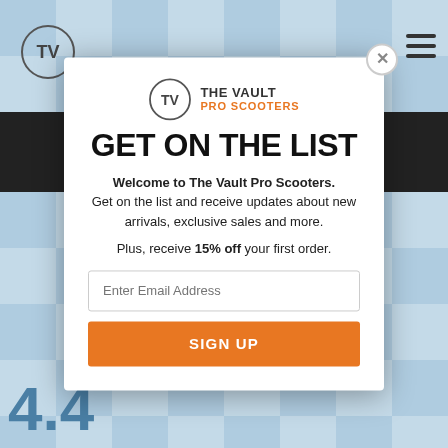[Figure (screenshot): Website background with blue and white checkerboard pattern, dark header bar, and navigation elements]
[Figure (infographic): The Vault Pro Scooters popup modal with logo, GET ON THE LIST headline, welcome text, email signup form and orange SIGN UP button]